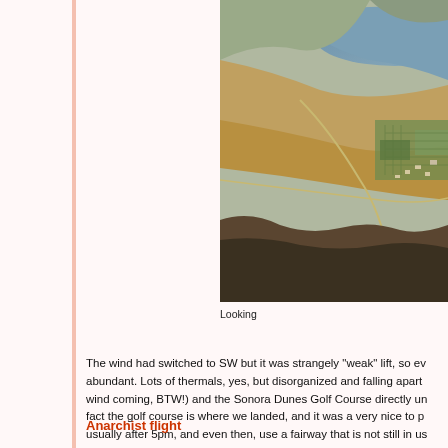[Figure (photo): Aerial photograph looking down over a landscape with a river or lake in the upper right, farmland, roads, and a town or settlement visible in the middle distance. Taken from an aircraft or paraglider at altitude.]
Looking
The wind had switched to SW but it was strangely "weak" lift, so ev abundant.  Lots of thermals, yes, but disorganized and falling apart wind coming, BTW!) and the Sonora Dunes Golf Course directly un fact the golf course is where we landed, and it was a very nice to p usually after 5pm, and even then, use a fairway that is not still in us
Anarchist flight